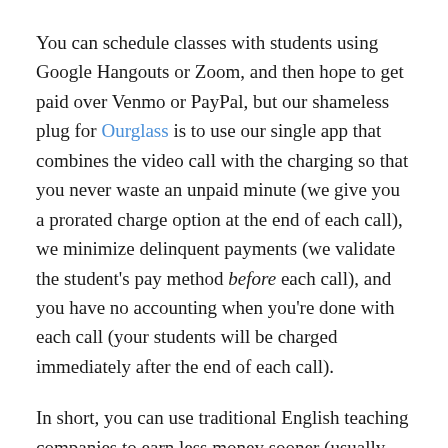You can schedule classes with students using Google Hangouts or Zoom, and then hope to get paid over Venmo or PayPal, but our shameless plug for Ourglass is to use our single app that combines the video call with the charging so that you never waste an unpaid minute (we give you a prorated charge option at the end of each call), we minimize delinquent payments (we validate the student's pay method before each call), and you have no accounting when you're done with each call (your students will be charged immediately after the end of each call).
In short, you can use traditional English teaching companies to earn less money sooner (usually requiring accreditation), or you can leverage the growing social groups on the web and with some self-marketing earn